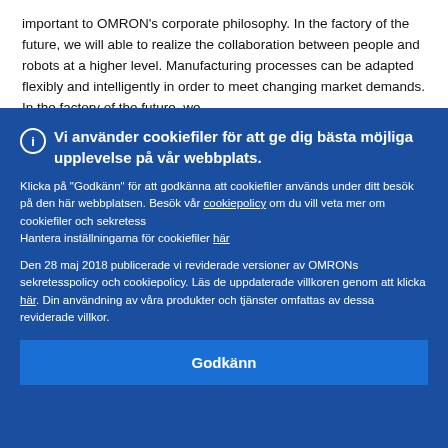important to OMRON's corporate philosophy. In the factory of the future, we will able to realize the collaboration between people and robots at a higher level. Manufacturing processes can be adapted flexibly and intelligently in order to meet changing market demands. In the factory of the future, we
Vi använder cookiefiler för att ge dig bästa möjliga upplevelse på vår webbplats.

Klicka på "Godkänn" för att godkänna att cookiefiler används under ditt besök på den här webbplatsen. Besök vår cookiepolicy om du vill veta mer om cookiefiler och sekretess
Hantera inställningarna för cookiefiler här

Den 28 maj 2018 publicerade vi reviderade versioner av OMRONs sekretesspolicy och cookiepolicy. Läs de uppdaterade villkoren genom att klicka här. Din användning av våra produkter och tjänster omfattas av dessa reviderade villkor.

Godkänn